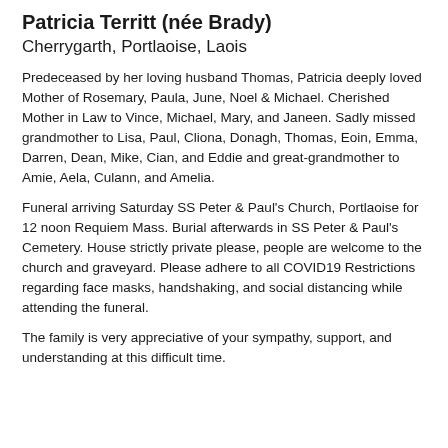Patricia Territt (née Brady)
Cherrygarth, Portlaoise, Laois
Predeceased by her loving husband Thomas, Patricia deeply loved Mother of Rosemary, Paula, June, Noel & Michael. Cherished Mother in Law to Vince, Michael, Mary, and Janeen. Sadly missed grandmother to Lisa, Paul, Cliona, Donagh, Thomas, Eoin, Emma, Darren, Dean, Mike, Cian, and Eddie and great-grandmother to Amie, Aela, Culann, and Amelia.
Funeral arriving Saturday SS Peter & Paul's Church, Portlaoise for 12 noon Requiem Mass. Burial afterwards in SS Peter & Paul's Cemetery. House strictly private please, people are welcome to the church and graveyard. Please adhere to all COVID19 Restrictions regarding face masks, handshaking, and social distancing while attending the funeral.
The family is very appreciative of your sympathy, support, and understanding at this difficult time.